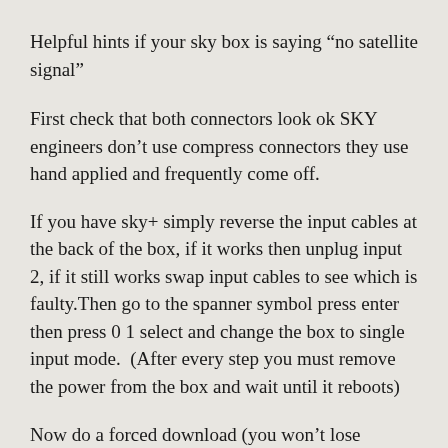Helpful hints if your sky box is saying “no satellite signal”
First check that both connectors look ok SKY engineers don’t use compress connectors they use hand applied and frequently come off.
If you have sky+ simply reverse the input cables at the back of the box, if it works then unplug input 2, if it still works swap input cables to see which is faulty.Then go to the spanner symbol press enter then press 0 1 select and change the box to single input mode.  (After every step you must remove the power from the box and wait until it reboots)
Now do a forced download (you won’t lose recordings) Remove the power from the box.Press and firmly hold